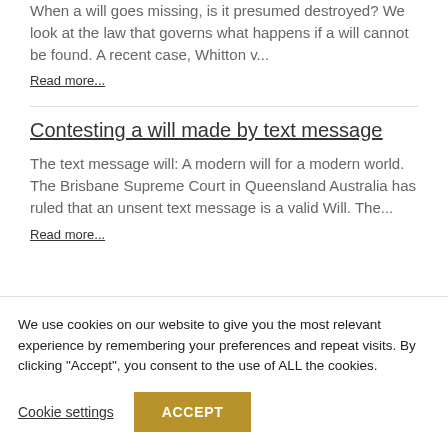When a will goes missing, is it presumed destroyed? We look at the law that governs what happens if a will cannot be found. A recent case, Whitton v...
Read more...
Contesting a will made by text message
The text message will: A modern will for a modern world. The Brisbane Supreme Court in Queensland Australia has ruled that an unsent text message is a valid Will. The...
Read more...
We use cookies on our website to give you the most relevant experience by remembering your preferences and repeat visits. By clicking “Accept”, you consent to the use of ALL the cookies.